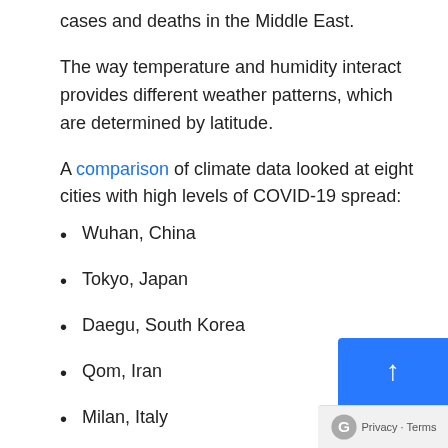cases and deaths in the Middle East.
The way temperature and humidity interact provides different weather patterns, which are determined by latitude.
A comparison of climate data looked at eight cities with high levels of COVID-19 spread:
Wuhan, China
Tokyo, Japan
Daegu, South Korea
Qom, Iran
Milan, Italy
Paris, France